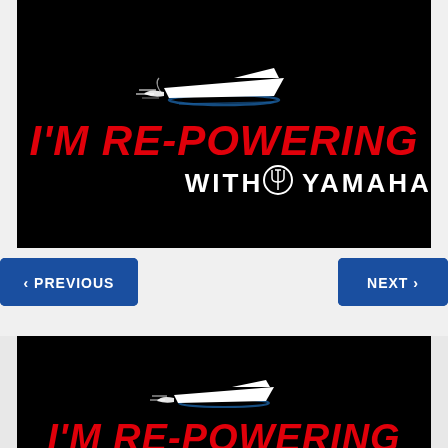[Figure (logo): I'm Re-Powering with Yamaha promotional image on black background with boat graphic and red italic text reading I'M RE-POWERING and white bold text reading WITH YAMAHA with Yamaha tuning fork logo]
[Figure (other): PREVIOUS navigation button with left chevron arrow on blue background]
[Figure (other): NEXT navigation button with right chevron arrow on blue background]
[Figure (logo): Partial view of second I'm Re-Powering with Yamaha promotional image, same design, cut off at bottom of page]